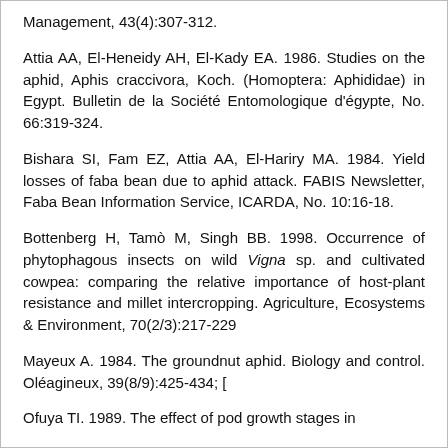Management, 43(4):307-312.
Attia AA, El-Heneidy AH, El-Kady EA. 1986. Studies on the aphid, Aphis craccivora, Koch. (Homoptera: Aphididae) in Egypt. Bulletin de la Société Entomologique d'égypte, No. 66:319-324.
Bishara SI, Fam EZ, Attia AA, El-Hariry MA. 1984. Yield losses of faba bean due to aphid attack. FABIS Newsletter, Faba Bean Information Service, ICARDA, No. 10:16-18.
Bottenberg H, Tamò M, Singh BB. 1998. Occurrence of phytophagous insects on wild Vigna sp. and cultivated cowpea: comparing the relative importance of host-plant resistance and millet intercropping. Agriculture, Ecosystems & Environment, 70(2/3):217-229
Mayeux A. 1984. The groundnut aphid. Biology and control. Oléagineux, 39(8/9):425-434; [
Ofuya TI. 1989. The effect of pod growth stages in